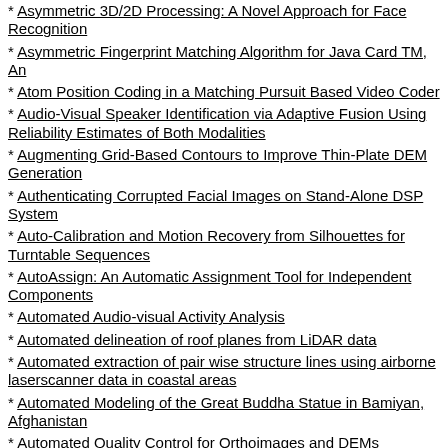* Asymmetric 3D/2D Processing: A Novel Approach for Face Recognition
* Asymmetric Fingerprint Matching Algorithm for Java Card TM, An
* Atom Position Coding in a Matching Pursuit Based Video Coder
* Audio-Visual Speaker Identification via Adaptive Fusion Using Reliability Estimates of Both Modalities
* Augmenting Grid-Based Contours to Improve Thin-Plate DEM Generation
* Authenticating Corrupted Facial Images on Stand-Alone DSP System
* Auto-Calibration and Motion Recovery from Silhouettes for Turntable Sequences
* AutoAssign: An Automatic Assignment Tool for Independent Components
* Automated Audio-visual Activity Analysis
* Automated delineation of roof planes from LiDAR data
* Automated extraction of pair wise structure lines using airborne laserscanner data in coastal areas
* Automated Modeling of the Great Buddha Statue in Bamiyan, Afghanistan
* Automated Quality Control for Orthoimages and DEMs
* Automated Snake Initialization for the Segmentation of the Prostate in Ultrasound Images
* Automated Update of Road Databases using Aerial...